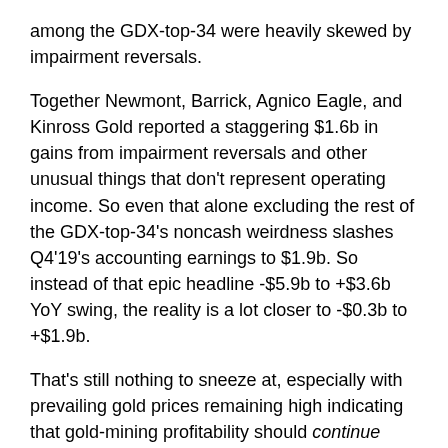among the GDX-top-34 were heavily skewed by impairment reversals.
Together Newmont, Barrick, Agnico Eagle, and Kinross Gold reported a staggering $1.6b in gains from impairment reversals and other unusual things that don't represent operating income. So even that alone excluding the rest of the GDX-top-34's noncash weirdness slashes Q4'19's accounting earnings to $1.9b. So instead of that epic headline -$5.9b to +$3.6b YoY swing, the reality is a lot closer to -$0.3b to +$1.9b.
That's still nothing to sneeze at, especially with prevailing gold prices remaining high indicating that gold-mining profitability should continue exploding higher. The COVID-19 impact on gold-mining operations is likely to be minimal compared to other sectors too. Gold mines are usually way out in the sticks away from civilization, and mine employees are generally spread out across operations not exposed to many people.